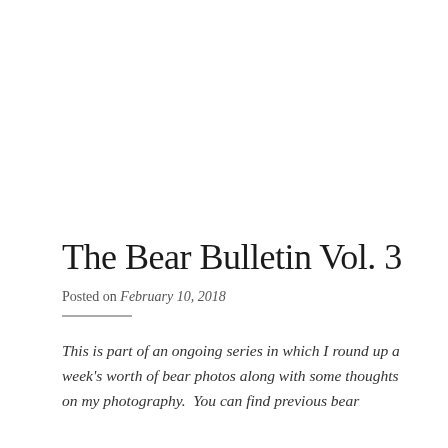The Bear Bulletin Vol. 3
Posted on February 10, 2018
This is part of an ongoing series in which I round up a week's worth of bear photos along with some thoughts on my photography.  You can find previous bear